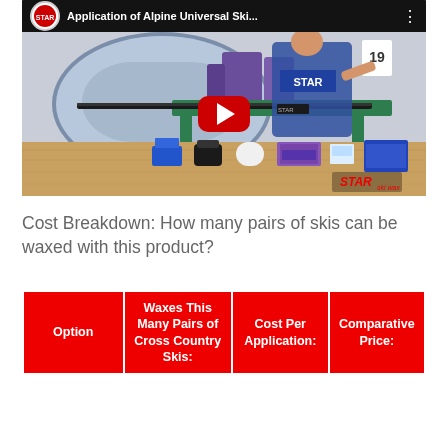[Figure (screenshot): YouTube video thumbnail showing a man in a STAR ski wax apron applying wax to skis on a workbench, with ski wax products displayed on the table. Title reads 'Application of Alpine Universal Ski...' with STAR ski wax logo.]
Cost Breakdown: How many pairs of skis can be waxed with this product?
| Option | Waxes This Many Pairs of Cross Country Skis: | Cost Per Application: | Comparative Price: |
| --- | --- | --- | --- |